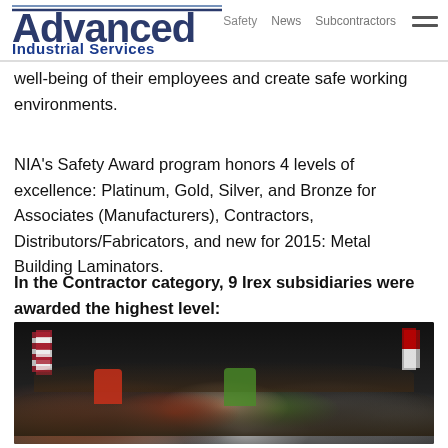Advanced Industrial Services | Safety  News  Subcontractors
well-being of their employees and create safe working environments.
NIA's Safety Award program honors 4 levels of excellence: Platinum, Gold, Silver, and Bronze for Associates (Manufacturers), Contractors, Distributors/Fabricators, and new for 2015: Metal Building Laminators.
In the Contractor category, 9 Irex subsidiaries were awarded the highest level:
[Figure (photo): Group photo of award recipients on a dark stage, with an American flag on the left and a red flag on the right. Multiple people standing and kneeling in rows.]